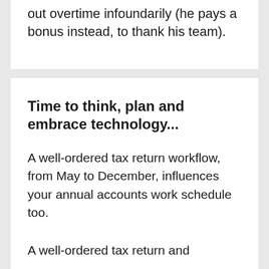out overtime infoundarily (he pays a bonus instead, to thank his team).
Time to think, plan and embrace technology...
A well-ordered tax return workflow, from May to December, influences your annual accounts work schedule too.
A well-ordered tax return and